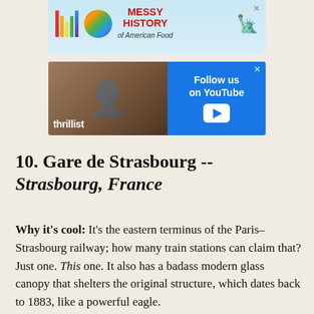[Figure (screenshot): Advertisement banner: Messy History of American Food with colorful logo bars, globe icon, and Statue of Liberty]
[Figure (screenshot): Thrillist advertisement: Follow us on YouTube with blue YouTube button and photo of person eating]
10. Gare de Strasbourg -- Strasbourg, France
Why it's cool: It's the eastern terminus of the Paris–Strasbourg railway; how many train stations can claim that? Just one. This one. It also has a badass modern glass canopy that shelters the original structure, which dates back to 1883, like a powerful eagle.